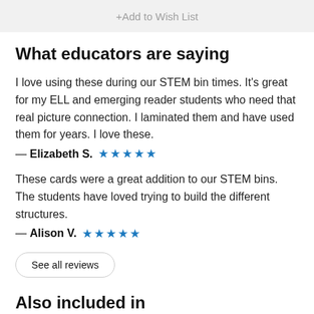+ Add to Wish List
What educators are saying
I love using these during our STEM bin times. It's great for my ELL and emerging reader students who need that real picture connection. I laminated them and have used them for years. I love these.
— Elizabeth S. ★★★★★
These cards were a great addition to our STEM bins. The students have loved trying to build the different structures.
— Alison V. ★★★★★
See all reviews
Also included in